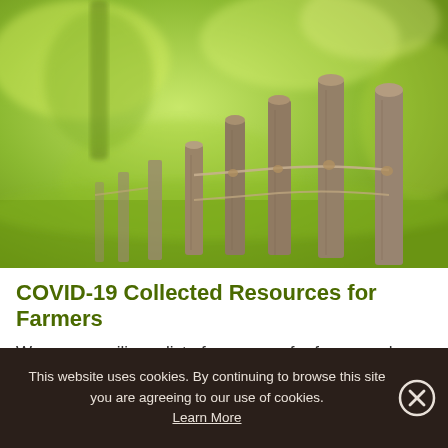[Figure (photo): Close-up photograph of weathered wooden fence posts with wire, set against a bright green grassy field background with bokeh effect and a tree in the background.]
COVID-19 Collected Resources for Farmers
We are compiling a list of resources for farmers who are working through challenges brought...
This website uses cookies. By continuing to browse this site you are agreeing to our use of cookies. Learn More